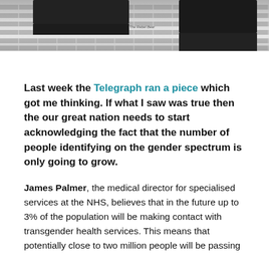[Figure (photo): Photograph of what appears to be a wall with equipment or server/audio racks mounted on it, partially visible at the top of the page. Text watermark reads 'The Rebel Bear'.]
Last week the Telegraph ran a piece which got me thinking. If what I saw was true then the our great nation needs to start acknowledging the fact that the number of people identifying on the gender spectrum is only going to grow.
James Palmer, the medical director for specialised services at the NHS, believes that in the future up to 3% of the population will be making contact with transgender health services. This means that potentially close to two million people will be passing